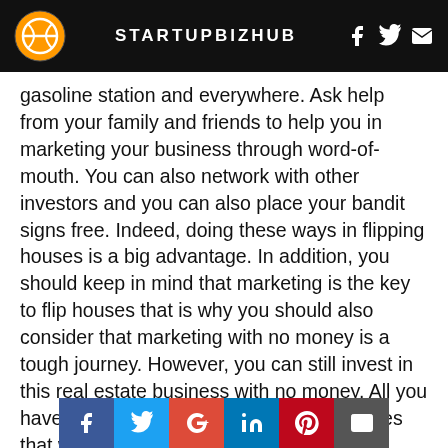STARTUPBIZHUB
gasoline station and everywhere. Ask help from your family and friends to help you in marketing your business through word-of-mouth. You can also network with other investors and you can also place your bandit signs free. Indeed, doing these ways in flipping houses is a big advantage. In addition, you should keep in mind that marketing is the key to flip houses that is why you should also consider that marketing with no money is a tough journey. However, you can still invest in this real estate business with no money. All you have to do is learn the marketing techniques that would not cost you much money.
[Figure (other): Social sharing buttons bar: Facebook, Twitter, Google+, LinkedIn, Pinterest, Email]